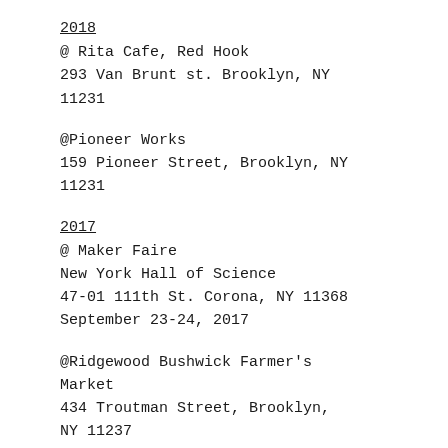2018
@ Rita Cafe, Red Hook
293 Van Brunt st. Brooklyn, NY 11231
@Pioneer Works
159 Pioneer Street, Brooklyn, NY 11231
2017
@ Maker Faire
New York Hall of Science
47-01 111th St. Corona, NY 11368
September 23-24, 2017
@Ridgewood Bushwick Farmer's Market
434 Troutman Street, Brooklyn, NY 11237